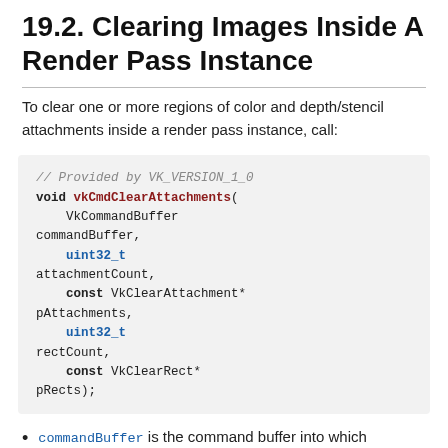19.2. Clearing Images Inside A Render Pass Instance
To clear one or more regions of color and depth/stencil attachments inside a render pass instance, call:
// Provided by VK_VERSION_1_0
void vkCmdClearAttachments(
    VkCommandBuffer commandBuffer,
    uint32_t attachmentCount,
    const VkClearAttachment* pAttachments,
    uint32_t rectCount,
    const VkClearRect* pRects);
commandBuffer is the command buffer into which